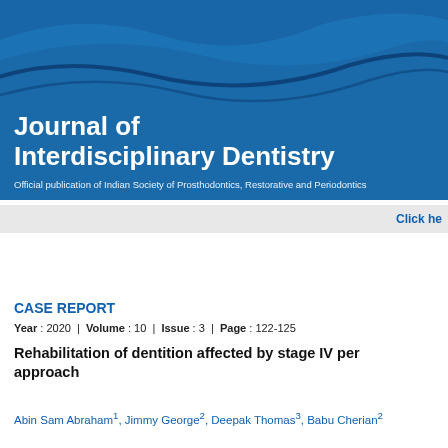[Figure (illustration): Journal of Interdisciplinary Dentistry header banner with blue background and wave design]
Journal of Interdisciplinary Dentistry
Official publication of Indian Society of Prosthodontics, Restorative and Periodontics
Click he
CASE REPORT
Year : 2020 | Volume : 10 | Issue : 3 | Page : 122-125
Rehabilitation of dentition affected by stage IV per approach
Abin Sam Abraham1, Jimmy George2, Deepak Thomas3, Babu Cherian2